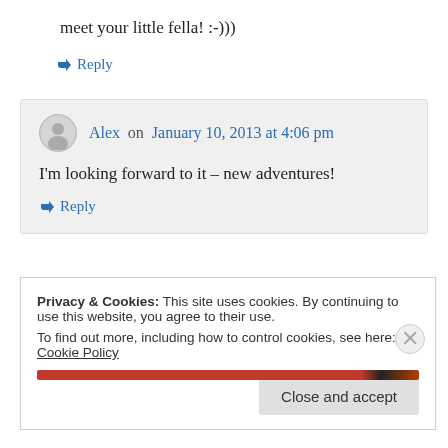meet your little fella! :-)))
↳ Reply
Alex on January 10, 2013 at 4:06 pm
I'm looking forward to it – new adventures!
↳ Reply
Privacy & Cookies: This site uses cookies. By continuing to use this website, you agree to their use.
To find out more, including how to control cookies, see here: Cookie Policy
Close and accept